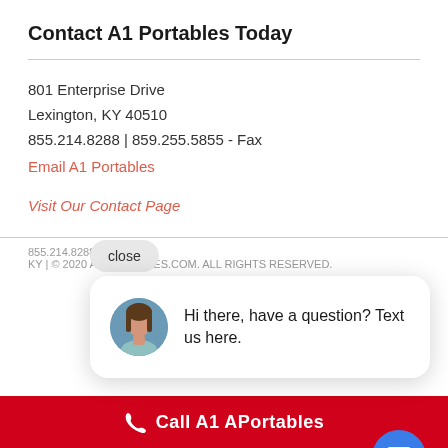Contact A1 Portables Today
801 Enterprise Drive
Lexington, KY 40510
855.214.8288 | 859.255.5855 - Fax
Email A1 Portables
Visit Our Contact Page
855.214.8288 -
KY | © 2020 A1PORTABLES.COM. ALL RIGHTS RESERVED.
[Figure (screenshot): Chat popup with avatar photo of woman and text: Hi there, have a question? Text us here. Close button and blue chat bubble icon visible.]
Call A1 APortables